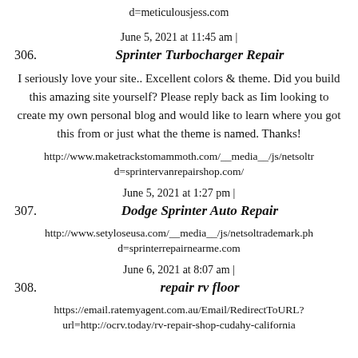d=meticulousjess.com
306. June 5, 2021 at 11:45 am | Sprinter Turbocharger Repair
I seriously love your site.. Excellent colors & theme. Did you build this amazing site yourself? Please reply back as Iim looking to create my own personal blog and would like to learn where you got this from or just what the theme is named. Thanks!
http://www.maketrackstomammoth.com/__media__/js/netsoltr d=sprintervanrepairshop.com/
307. June 5, 2021 at 1:27 pm | Dodge Sprinter Auto Repair
http://www.setyloseusa.com/__media__/js/netsoltrademark.ph d=sprinterrepairnearme.com
308. June 6, 2021 at 8:07 am | repair rv floor
https://email.ratemyagent.com.au/Email/RedirectToURL? url=http://ocrv.today/rv-repair-shop-cudahy-california